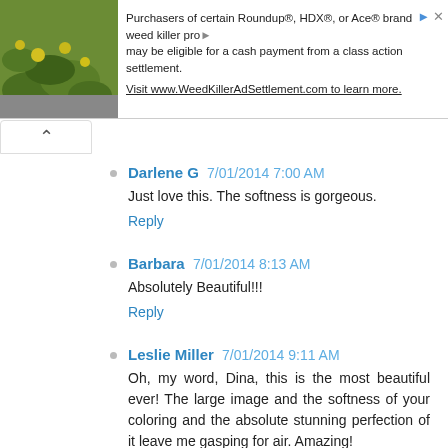[Figure (screenshot): Advertisement banner with plant photo on left and text about Roundup/HDX/Ace weed killer class action settlement on right]
Purchasers of certain Roundup®, HDX®, or Ace® brand weed killer products may be eligible for a cash payment from a class action settlement. Visit www.WeedKillerAdSettlement.com to learn more.
Darlene G  7/01/2014 7:00 AM
Just love this. The softness is gorgeous.
Reply
Barbara  7/01/2014 8:13 AM
Absolutely Beautiful!!!
Reply
Leslie Miller  7/01/2014 9:11 AM
Oh, my word, Dina, this is the most beautiful ever! The large image and the softness of your coloring and the absolute stunning perfection of it leave me gasping for air. Amazing!
Reply